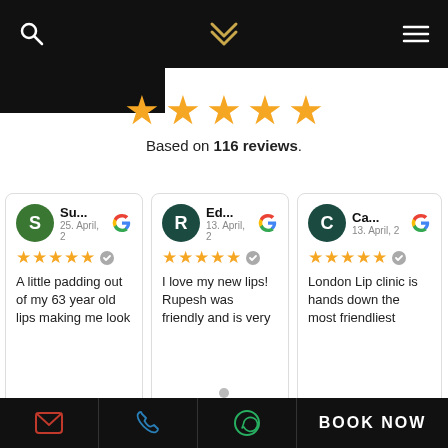London Lip Clinic navigation header with search, logo, and menu icons
[Figure (infographic): Five gold stars rating display with text 'Based on 116 reviews.']
[Figure (infographic): Review card 1: User Su... 25. April, 2... 5 stars. Text: A little padding out of my 63 year old lips making me look]
[Figure (infographic): Review card 2: User Ed... 13. April, 2... 5 stars. Text: I love my new lips! Rupesh was friendly and is very]
[Figure (infographic): Review card 3: User Ca... 13. April, 2... 5 stars. Text: London Lip clinic is hands down the most friendliest]
Email icon | Phone icon | WhatsApp icon | BOOK NOW